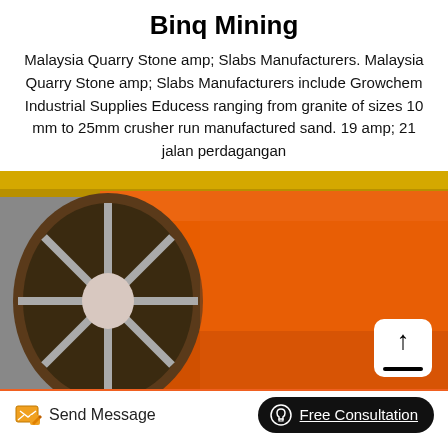Binq Mining
Malaysia Quarry Stone amp; Slabs Manufacturers. Malaysia Quarry Stone amp; Slabs Manufacturers include Growchem Industrial Supplies Educess ranging from granite of sizes 10 mm to 25mm crusher run manufactured sand. 19 amp; 21 jalan perdagangan
[Figure (photo): Industrial orange cylindrical drum/roller machinery photographed in a factory setting with yellow overhead crane visible in background. An upload button icon is overlaid at bottom right.]
Send Message   Free Consultation